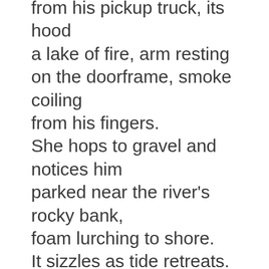from his pickup truck, its hood
a lake of fire, arm resting
on the doorframe, smoke coiling
from his fingers.
She hops to gravel and notices him
parked near the river's rocky bank,
foam lurching to shore.
It sizzles as tide retreats.

She squints, can't see his eyes
behind lenses white with glare.
She steps back to the hot rail,
her body taut, in tightrope mode,
arms out, foot sharp.
She's ten years old—lemon
shorts, T-shirt tight as snakeskin,
beauty a kind of power
pushing itself from her pores,
elongating her limbs,
magnetizing her
to rails plummeting